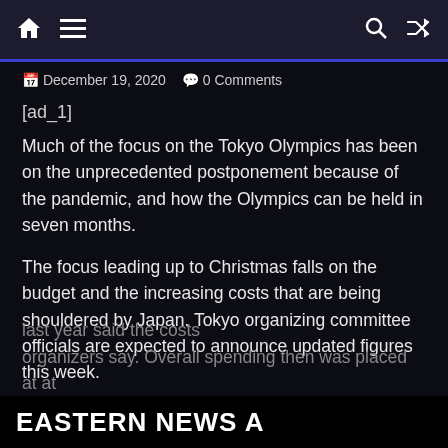Navigation bar with home, menu, search, and shuffle icons
December 19, 2020   0 Comments
[ad_1]
Much of the focus on the Tokyo Olympics has been on the unprecedented postponement because of the pandemic, and how the Olympics can be held in seven months.
The focus leading up to Christmas falls on the budget and the increasing costs that are being shouldered by Japan. Tokyo organizing committee officials are expected to announce updated figures this week.
The official costs published last year at this time was $12.6 billion US. However, Japan's National Audit Board last year said the costs organizers say. Overall spending then was placed at at
EASTERN NEWS A